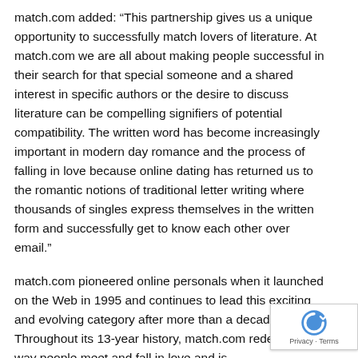match.com added: “This partnership gives us a unique opportunity to successfully match lovers of literature. At match.com we are all about making people successful in their search for that special someone and a shared interest in specific authors or the desire to discuss literature can be compelling signifiers of potential compatibility. The written word has become increasingly important in modern day romance and the process of falling in love because online dating has returned us to the romantic notions of traditional letter writing where thousands of singles express themselves in the written form and successfully get to know each other over email.”
match.com pioneered online personals when it launched on the Web in 1995 and continues to lead this exciting and evolving category after more than a decade. Throughout its 13-year history, match.com redefined the way people meet and fall in love and is